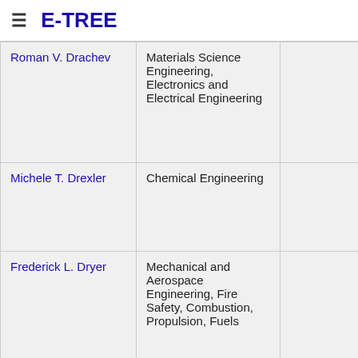E-TREE
| Name | Field | Col3 | Col4 | Year |
| --- | --- | --- | --- | --- |
| Roman V. Drachev | Materials Science Engineering, Electronics and Electrical Engineering |  |  | 2002 |
| Michele T. Drexler | Chemical Engineering |  |  | 2002 |
| Frederick L. Dryer | Mechanical and Aerospace Engineering, Fire Safety, Combustion, Propulsion, Fuels |  |  |  |
| Hongying Du | Computer Science | Computer Science and ... |  | 2014 |